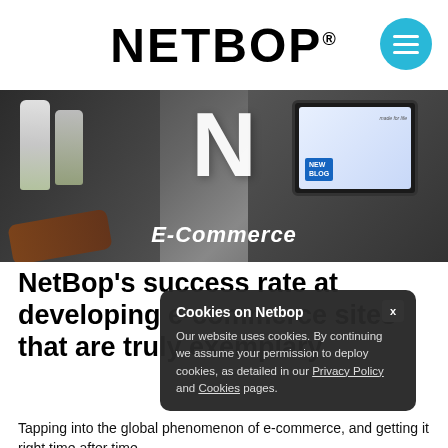NETBOP®
[Figure (photo): Hero banner showing e-commerce products (bottles, brush, tablet with screen showing NEW BLOG) with large white N logo and italic E-Commerce label overlay]
NetBop's success rate at developing e-commerce sites that are truly exemplary.
Cookies on Netbop
Our website uses cookies. By continuing we assume your permission to deploy cookies, as detailed in our Privacy Policy and Cookies pages.
Tapping into the global phenomenon of e-commerce, and getting it right time after time.